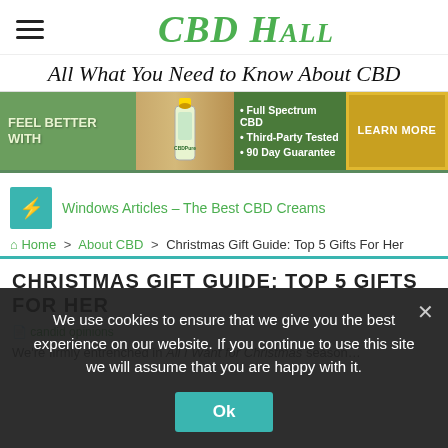CBD Hall
All What You Need to Know About CBD
[Figure (infographic): CBDPure advertisement banner: 'FEEL BETTER WITH CBDPure' with CBD oil bottle image, bullet points: Full Spectrum CBD, Third-Party Tested, 90 Day Guarantee, and a LEARN MORE button]
Windows Articles – The Best CBD Creams
Home > About CBD > Christmas Gift Guide: Top 5 Gifts For Her
CHRISTMAS GIFT GUIDE: TOP 5 GIFTS FOR HER
We're firmly entrenched in All I Want for Christmas season…
We use cookies to ensure that we give you the best experience on our website. If you continue to use this site we will assume that you are happy with it.